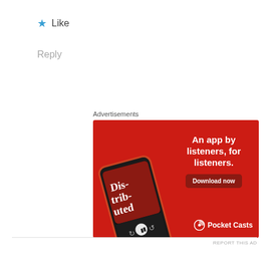★ Like
Reply
Advertisements
[Figure (illustration): Pocket Casts advertisement banner on red background showing a smartphone with podcast app open, headline 'An app by listeners, for listeners.' and 'Download now' button, Pocket Casts logo at bottom right.]
REPORT THIS AD